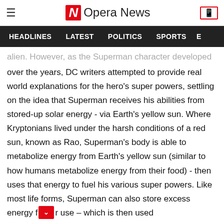Opera News
HEADLINES  LATEST  POLITICS  SPORTS
alien. However, as the Superman character developed over the years, DC writers attempted to provide real world explanations for the hero's super powers, settling on the idea that Superman receives his abilities from stored-up solar energy - via Earth's yellow sun. Where Kryptonians lived under the harsh conditions of a red sun, known as Rao, Superman's body is able to metabolize energy from Earth's yellow sun (similar to how humans metabolize energy from their food) - then uses that energy to fuel his various super powers. Like most life forms, Superman can also store excess energy f[dropdown]r use – which is then used